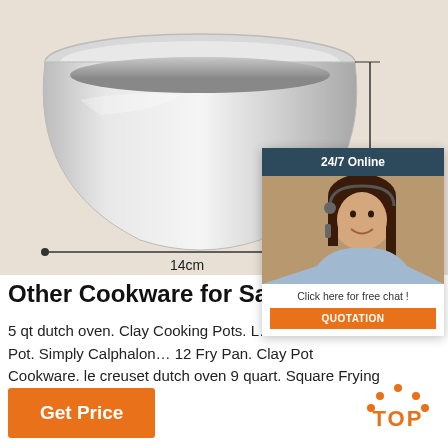[Figure (photo): Stainless steel bowl with dimension annotations: 13cm height and 14cm width, shown on a cream/beige background. A dimension line spans the 14cm width at the bottom of the bowl.]
[Figure (photo): Customer service representative (woman with headset) with 24/7 Online chat overlay, 'Click here for free chat!' text, and orange QUOTATION button on dark navy header.]
Other Cookware for Sale - eBa...
5 qt dutch oven. Clay Cooking Pots. L... Stainless Steel Pot. Simply Calphalon... 12 Fry Pan. Clay Pot Cookware. le creuset dutch oven 9 quart. Square Frying Pan. All Clad 12 Qt.
[Figure (other): Orange TOP button with dotted arc above]
Get Price